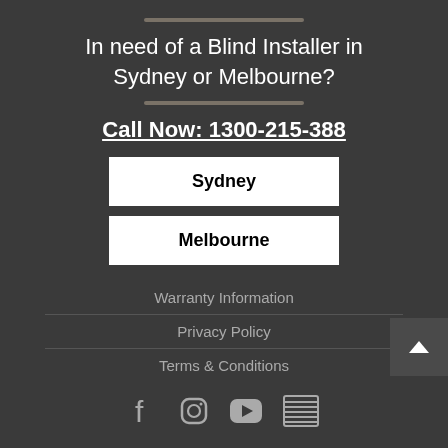In need of a Blind Installer in Sydney or Melbourne?
Call Now: 1300-215-388
Sydney
Melbourne
Warranty Information
Privacy Policy
Terms & Conditions
[Figure (other): Social media icons: Facebook, Instagram, YouTube, and a blind/shutter icon]